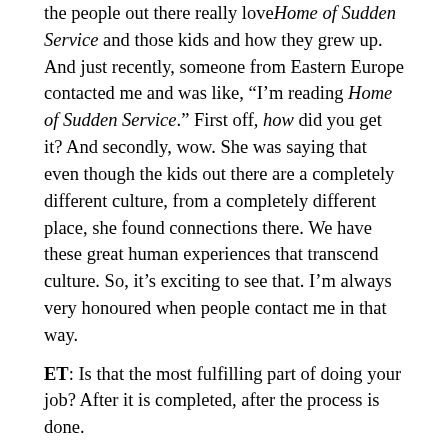the people out there really loveHome of Sudden Service and those kids and how they grew up. And just recently, someone from Eastern Europe contacted me and was like, “I’m reading Home of Sudden Service.” First off, how did you get it? And secondly, wow. She was saying that even though the kids out there are a completely different culture, from a completely different place, she found connections there. We have these great human experiences that transcend culture. So, it’s exciting to see that. I’m always very honoured when people contact me in that way.
ET: Is that the most fulfilling part of doing your job? After it is completed, after the process is done.
EB: Sure, sure. Definitely, definitely. I’m always amazed. I meet so many amazing people. I feel so fortunate to be able to travel a little bit, and talk to those people, and share my work. I feel it’s a great privilege.
ET: It’s great to be able to enjoy your job so much.
EB: I do, I do. Me and my dad, we share it. He’s a pilot, as I mentioned before. He lives in Hall Beach, which is on the northern tip of Baffin Island. And, whenever he comes to visit me,